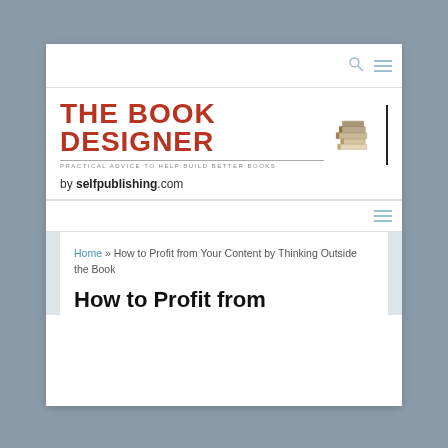THE BOOK DESIGNER — PRACTICAL ADVICE TO HELP BUILD BETTER BOOKS
by selfpublishing.com
Home » How to Profit from Your Content by Thinking Outside the Book
How to Profit from